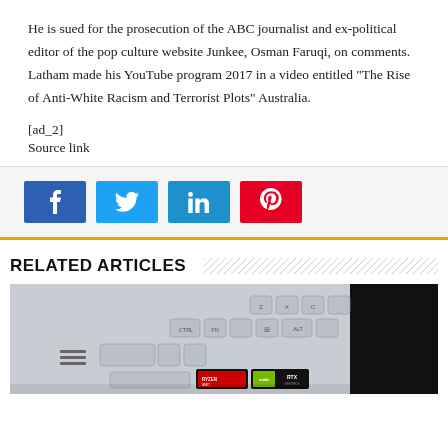He is sued for the prosecution of the ABC journalist and ex-political editor of the pop culture website Junkee, Osman Faruqi, on comments. Latham made his YouTube program 2017 in a video entitled "The Rise of Anti-White Racism and Terrorist Plots" Australia.
[ad_2]
Source link
[Figure (other): Social share buttons: Facebook (blue), Twitter (light blue), LinkedIn (medium blue), Pinterest (red)]
RELATED ARTICLES
[Figure (photo): Close-up photo of a laptop keyboard (silver/gray keys) with AMD Ryzen and Nvidia GeForce RTX stickers visible, partially obscured by black on the right side.]